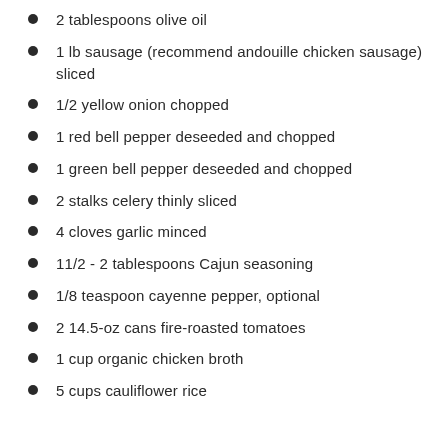2 tablespoons olive oil
1 lb sausage (recommend andouille chicken sausage) sliced
1/2 yellow onion chopped
1 red bell pepper deseeded and chopped
1 green bell pepper deseeded and chopped
2 stalks celery thinly sliced
4 cloves garlic minced
11/2 - 2 tablespoons Cajun seasoning
1/8 teaspoon cayenne pepper, optional
2 14.5-oz cans fire-roasted tomatoes
1 cup organic chicken broth
5 cups cauliflower rice